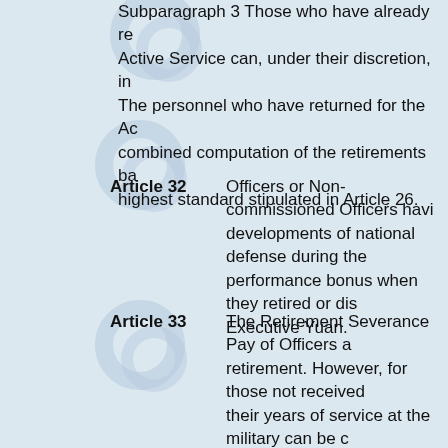Subparagraph 3 Those who have already returned for Active Service can, under their discretion, in... The personnel who have returned for the Active... combined computation of the retirements ba... highest standard stipulated in Article 26.
Article 32  Officers or Non-commissioned Officers having developments of national defense during the performance bonus when they retired or dis... Executive Yuan.
Article 33  The Retirement Severance Pay of Officers a... retirement. However, for those not received their years of service at the military can be c... Civil Servant, and process their retirement a... The Officers or Non-commissioned Officers position due to their suspension can select... Service. After Officers or Non-commissioned Officers politicians) and are to apply for the second income each year is in accordance with the Subparagraph 1 First, it shall be according t... (teachers) or politicians for their discharge...